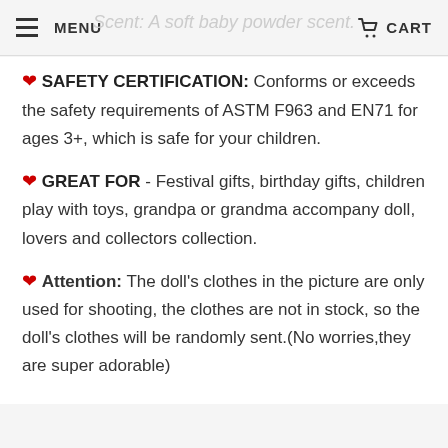MENU   CART
❤ SAFETY CERTIFICATION: Conforms or exceeds the safety requirements of ASTM F963 and EN71 for ages 3+, which is safe for your children.
❤ GREAT FOR - Festival gifts, birthday gifts, children play with toys, grandpa or grandma accompany doll, lovers and collectors collection.
❤ Attention: The doll's clothes in the picture are only used for shooting, the clothes are not in stock, so the doll's clothes will be randomly sent.(No worries,they are super adorable)